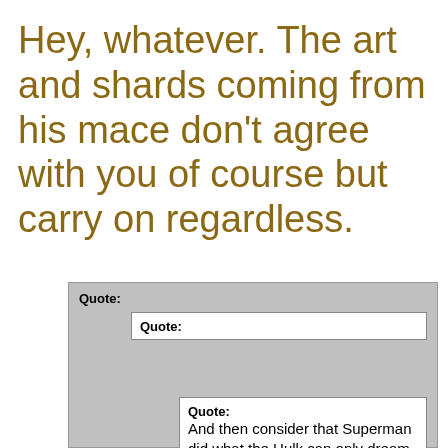Hey, whatever. The art and shards coming from his mace don't agree with you of course but carry on regardless.
Quote: Quote: Quote: And then consider that Superman did what the Hulk can only dream about doing.